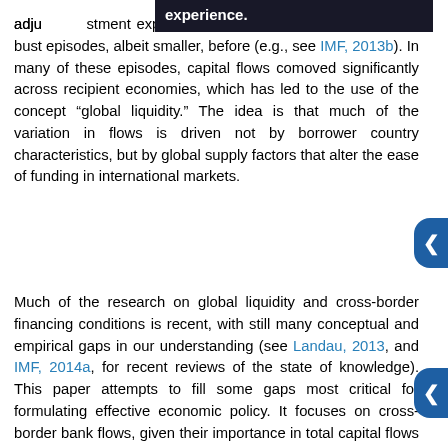experience.
adjustment experienced similar capital flow boom and bust episodes, albeit smaller, before (e.g., see IMF, 2013b). In many of these episodes, capital flows comoved significantly across recipient economies, which has led to the use of the concept “global liquidity.” The idea is that much of the variation in flows is driven not by borrower country characteristics, but by global supply factors that alter the ease of funding in international markets.
Much of the research on global liquidity and cross-border financing conditions is recent, with still many conceptual and empirical gaps in our understanding (see Landau, 2013, and IMF, 2014a, for recent reviews of the state of knowledge). This paper attempts to fill some gaps most critical for formulating effective economic policy. It focuses on cross-border bank flows, given their importance in total capital flows and their at times volatile behavior (IMF, 2011). It builds on the previous literature on global factors in cross-border flows, which has identified the importance of uncertainty and risk aversion, monetary policy stance